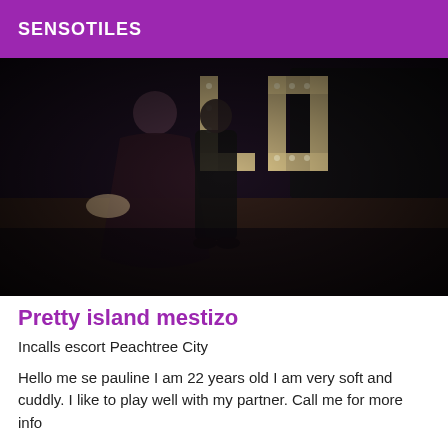SENSOTILES
[Figure (photo): A couple standing in a dark venue with large illuminated letter signs in the background. A woman in a long dark dress and a man in dark clothing are visible. The scene is dimly lit with warm tones.]
Pretty island mestizo
Incalls escort Peachtree City
Hello me se pauline I am 22 years old I am very soft and cuddly. I like to play well with my partner. Call me for more info